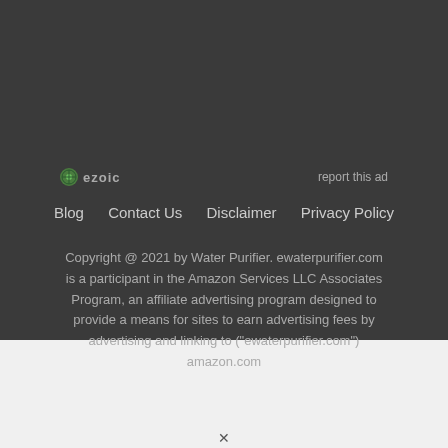[Figure (logo): Ezoic logo with green circular icon and 'ezoic' text in gray]
report this ad
Blog   Contact Us   Disclaimer   Privacy Policy
Copyright @ 2021 by Water Purifier. ewaterpurifier.com is a participant in the Amazon Services LLC Associates Program, an affiliate advertising program designed to provide a means for sites to earn advertising fees by advertising and linking to ("ewaterpurifier.com") amazon.com